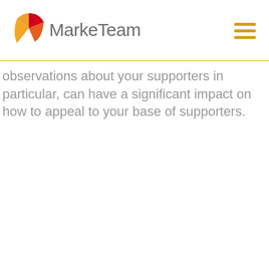MarkeTeam
observations about your supporters in particular, can have a significant impact on how to appeal to your base of supporters.